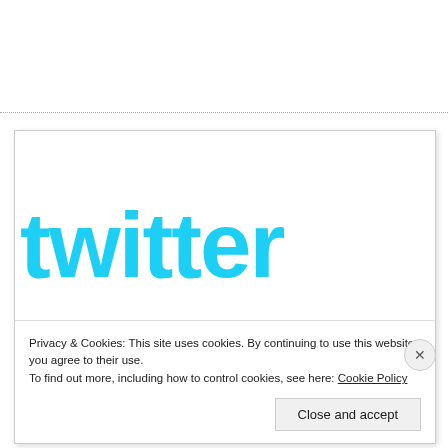[Figure (screenshot): Twitter website screenshot showing the Twitter logo in large cyan/light-blue text, partially cropped, with a cookie consent banner overlay at the bottom.]
Privacy & Cookies: This site uses cookies. By continuing to use this website, you agree to their use.
To find out more, including how to control cookies, see here: Cookie Policy
Close and accept